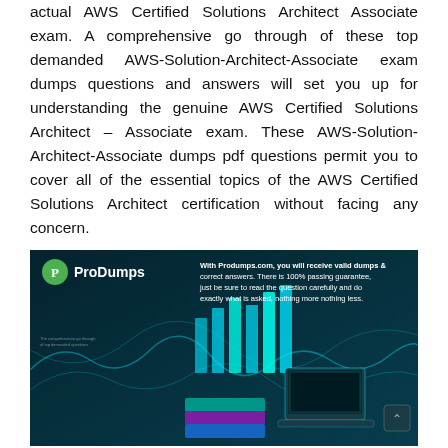actual AWS Certified Solutions Architect Associate exam. A comprehensive go through of these top demanded AWS-Solution-Architect-Associate exam dumps questions and answers will set you up for understanding the genuine AWS Certified Solutions Architect – Associate exam. These AWS-Solution-Architect-Associate dumps pdf questions permit you to cover all of the essential topics of the AWS Certified Solutions Architect certification without facing any concern.
[Figure (infographic): ProDumps.com promotional banner with dark teal background showing stacked books, a laptop, bar chart graphics and text: 'With Produmps.com, you will receive valid dumps & correct answers. There is 100% passing guarantee, just be sure to read the question carefully and do exactly what is asked, nothing more nothing less.' ProDumps logo with green circle in top-left.]